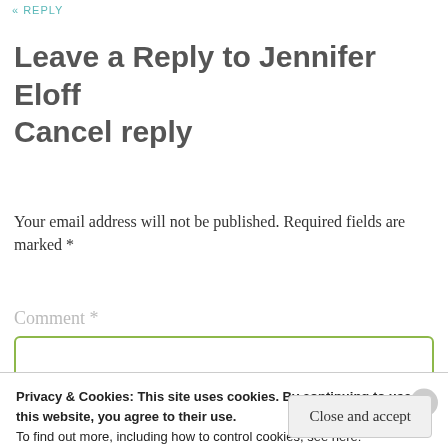« REPLY
Leave a Reply to Jennifer Eloff Cancel reply
Your email address will not be published. Required fields are marked *
Comment *
Privacy & Cookies: This site uses cookies. By continuing to use this website, you agree to their use.
To find out more, including how to control cookies, see here:
Cookie Policy
Close and accept